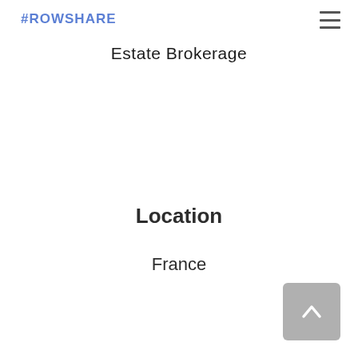#ROWSHARE
Estate Brokerage
Location
France